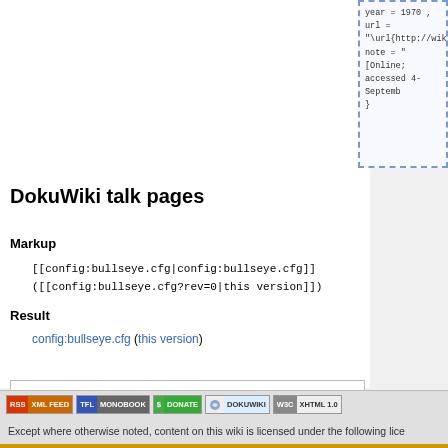year = 1970 ,
  url = "\url{http://wiki.synchro.net
  note = "[Online; accessed 4-Septemb
}
DokuWiki talk pages
Markup
[[config:bullseye.cfg|config:bullseye.cfg]]
([[config:bullseye.cfg?rev=0|this version]])
Result
config:bullseye.cfg (this version)
Trace:
RSS XML FEED | TFL MONOBOOK | $ DONATE | DOKUWIKI | WSC XHTML 1.0
Except where otherwise noted, content on this wiki is licensed under the following lice